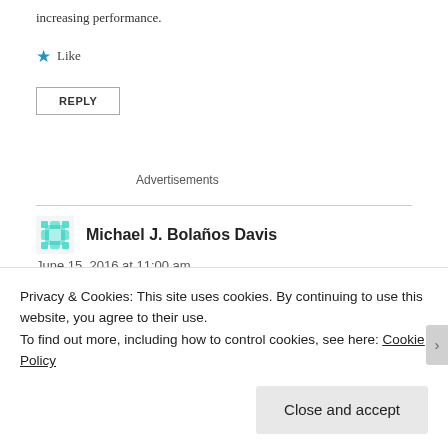increasing performance.
★ Like
REPLY
Advertisements
Michael J. Bolaños Davis
June 15, 2016 at 11:00 am
Privacy & Cookies: This site uses cookies. By continuing to use this website, you agree to their use.
To find out more, including how to control cookies, see here: Cookie Policy
Close and accept